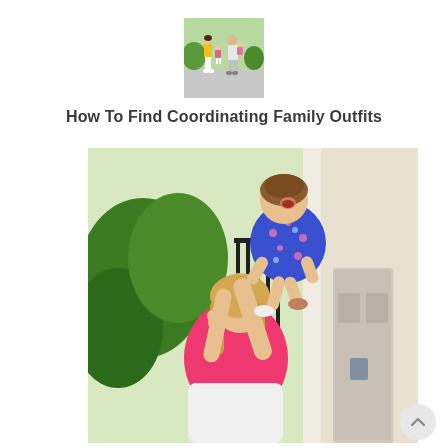[Figure (photo): Small thumbnail photo of a family (man, woman, two children) standing outdoors in coordinating colorful outfits on a sidewalk or driveway.]
How To Find Coordinating Family Outfits
[Figure (photo): A woman in a pink top and white pants lifts a laughing toddler wearing a blue floral dress above her head, outdoors near a white building with green trees in the background.]